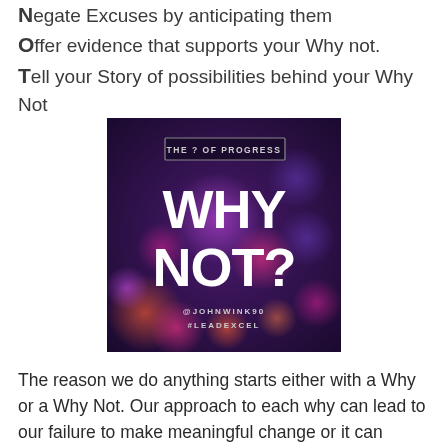Negate Excuses by anticipating them
Offer evidence that supports your Why not.
Tell your Story of possibilities behind your Why Not
[Figure (illustration): Dark purple bokeh background image with text 'THE ? OF PROGRESS' in a bordered box at top, large bold white text 'WHY NOT?' in center, and '@JOHNWINK90 #LEADEXCEL' at bottom]
The reason we do anything starts either with a Why or a Why Not. Our approach to each why can lead to our failure to make meaningful change or it can inspire us to take a chance that could lead to amazing possibilities. Why and